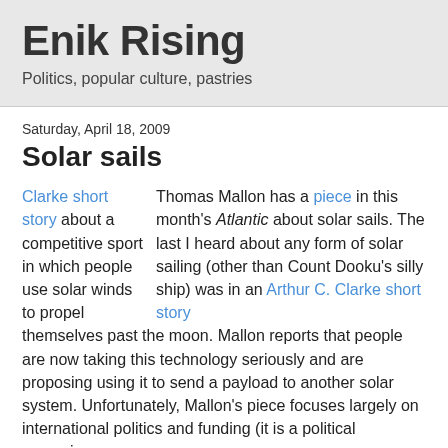Enik Rising
Politics, popular culture, pastries
Saturday, April 18, 2009
Solar sails
Thomas Mallon has a piece in this month's Atlantic about solar sails. The last I heard about any form of solar sailing (other than Count Dooku's silly ship) was in an Arthur C. Clarke short story about a competitive sport in which people use solar winds to propel themselves past the moon. Mallon reports that people are now taking this technology seriously and are proposing using it to send a payload to another solar system. Unfortunately, Mallon's piece focuses largely on international politics and funding (it is a political magazine